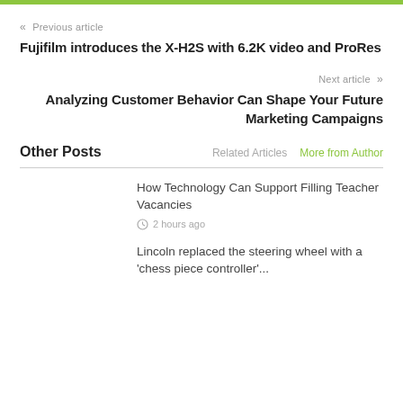« Previous article
Fujifilm introduces the X-H2S with 6.2K video and ProRes
Next article »
Analyzing Customer Behavior Can Shape Your Future Marketing Campaigns
Other Posts
Related Articles    More from Author
How Technology Can Support Filling Teacher Vacancies
2 hours ago
Lincoln replaced the steering wheel with a 'chess piece controller'...